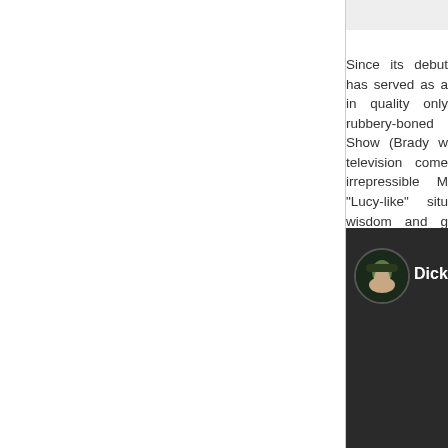[Figure (photo): Partial view of an image in the upper right area, mostly cropped off-page]
Since its debut has served as a in quality only rubbery-boned Show (Brady w television come irrepressible M "Lucy-like" situ wisdom and g Rob's co-writer and Morey Am five-season ru producer and borderline slea Rutherford) on
[Figure (photo): Dark background image with a circular avatar showing a figure in a dark hat (resembling a pirate character), with the text 'Dick' visible in white]